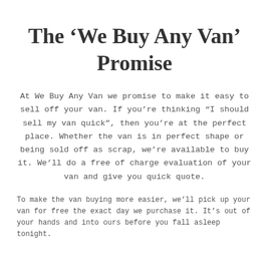The ‘We Buy Any Van’ Promise
At We Buy Any Van we promise to make it easy to sell off your van. If you’re thinking “I should sell my van quick”, then you’re at the perfect place. Whether the van is in perfect shape or being sold off as scrap, we’re available to buy it. We’ll do a free of charge evaluation of your van and give you quick quote.
To make the van buying more easier, we’ll pick up your van for free the exact day we purchase it. It’s out of your hands and into ours before you fall asleep tonight.